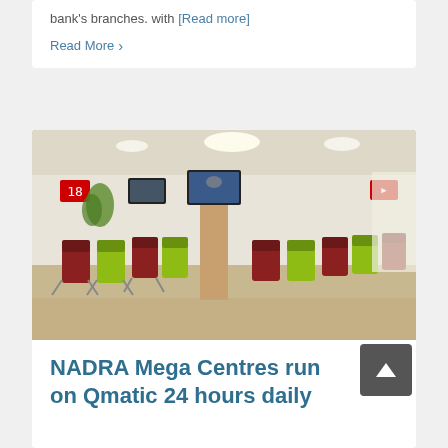bank's branches. with [Read more]
Read More ›
[Figure (photo): Interior of a NADRA waiting room with rows of yellow-green and dark red chairs, white pillars, TV screens mounted on pillars, and bright ceiling lights.]
NADRA Mega Centres run on Qmatic 24 hours daily